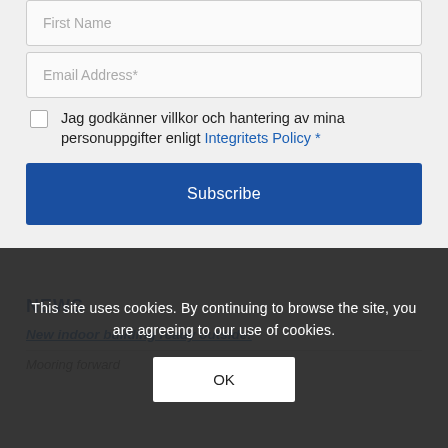First Name
Email Address*
Jag godkänner villkor och hantering av mina personuppgifter enligt Integritets Policy *
Subscribe
NEWS
New indoor building ready outside!
Mooring forward
This site uses cookies. By continuing to browse the site, you are agreeing to our use of cookies.
OK